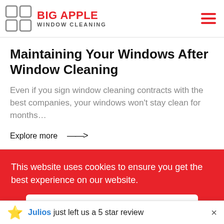BIG APPLE WINDOW CLEANING
Maintaining Your Windows After Window Cleaning
Even if you sign window cleaning contracts with the best companies, your windows won't stay clean for months…
Explore more →
This website uses cookies to ensure you get the best experience on our website.
Got it
Julios just left us a 5 star review